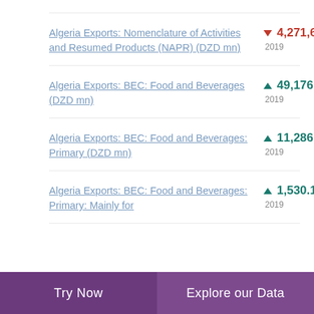Algeria Exports: Nomenclature of Activities and Resumed Products (NAPR) (DZD mn)
Algeria Exports: BEC: Food and Beverages (DZD mn)
Algeria Exports: BEC: Food and Beverages: Primary (DZD mn)
Algeria Exports: BEC: Food and Beverages: Primary: Mainly for
Try Now  |  Explore our Data